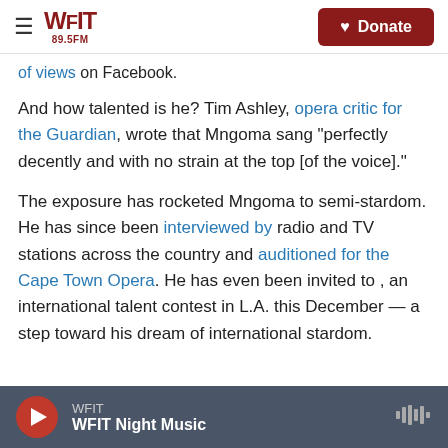WFIT 89.5FM | Donate
of views on Facebook.
And how talented is he? Tim Ashley, opera critic for the Guardian, wrote that Mngoma sang "perfectly decently and with no strain at the top [of the voice]."
The exposure has rocketed Mngoma to semi-stardom. He has since been interviewed by radio and TV stations across the country and auditioned for the Cape Town Opera. He has even been invited to , an international talent contest in L.A. this December — a step toward his dream of international stardom.
WFIT | WFIT Night Music